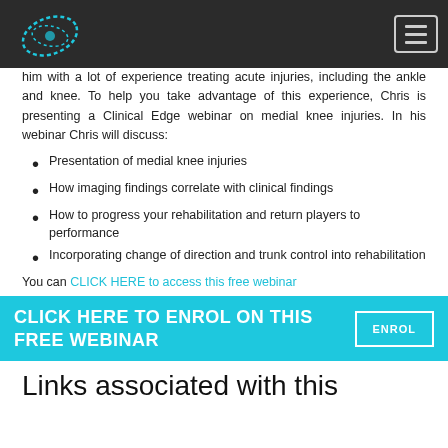[Logo] [Hamburger menu]
him with a lot of experience treating acute injuries, including the ankle and knee. To help you take advantage of this experience, Chris is presenting a Clinical Edge webinar on medial knee injuries. In his webinar Chris will discuss:
Presentation of medial knee injuries
How imaging findings correlate with clinical findings
How to progress your rehabilitation and return players to performance
Incorporating change of direction and trunk control into rehabilitation
You can CLICK HERE to access this free webinar
CLICK HERE TO ENROL ON THIS FREE WEBINAR  ENROL
Links associated with this